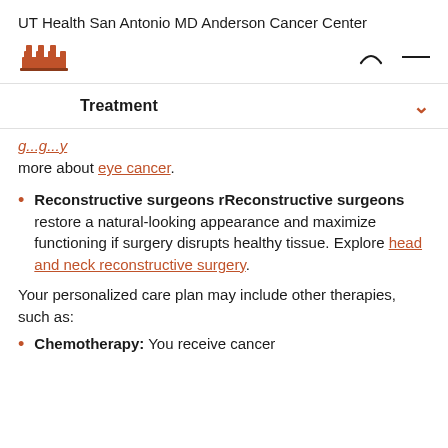UT Health San Antonio MD Anderson Cancer Center
Treatment
more about eye cancer.
Reconstructive surgeons rReconstructive surgeons restore a natural-looking appearance and maximize functioning if surgery disrupts healthy tissue. Explore head and neck reconstructive surgery.
Your personalized care plan may include other therapies, such as:
Chemotherapy: You receive cancer